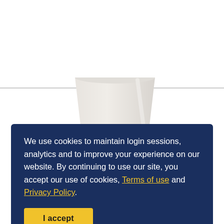[Figure (photo): A white ceramic mug/cup photographed against a white background, partially visible at the top portion of the page. A thin gray horizontal divider line is visible across the image area.]
We use cookies to maintain login sessions, analytics and to improve your experience on our website. By continuing to use our site, you accept our use of cookies, Terms of use and Privacy Policy.